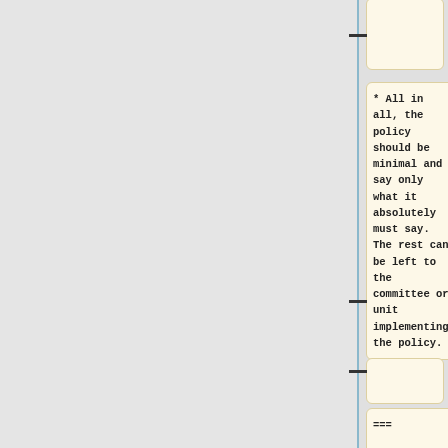* All in all, the policy should be minimal and say only what it absolutely must say. The rest can be left to the committee or unit implementing the policy.
===